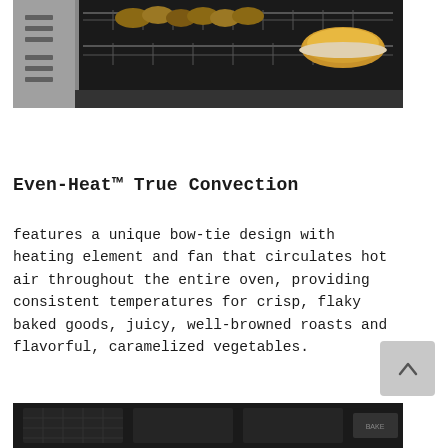[Figure (photo): Photograph of an open oven with multiple racks containing baked goods including rolls and pies, showing the interior stainless steel oven with wire racks]
Even-Heat™ True Convection
features a unique bow-tie design with heating element and fan that circulates hot air throughout the entire oven, providing consistent temperatures for crisp, flaky baked goods, juicy, well-browned roasts and flavorful, caramelized vegetables.
[Figure (photo): Partial photograph of a dark-colored appliance, likely a stovetop or range bottom section]